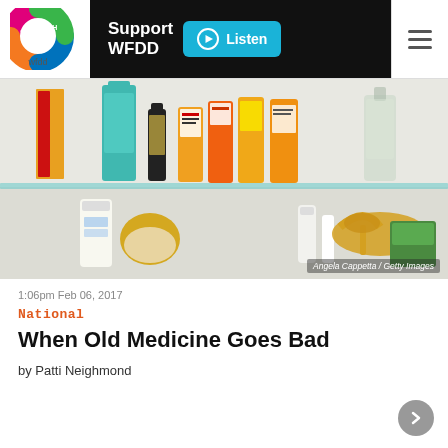[Figure (logo): WFDD 75th anniversary logo — colorful circular emblem with '75TH' text and 'wfdd' below]
[Figure (screenshot): Support WFDD banner with Listen button (cyan background)]
[Figure (photo): Photo of a medicine cabinet shelf with various prescription bottles, pill containers, lotions, and personal care items. Credit: Angela Cappetta / Getty Images]
1:06pm Feb 06, 2017
National
When Old Medicine Goes Bad
by Patti Neighmond